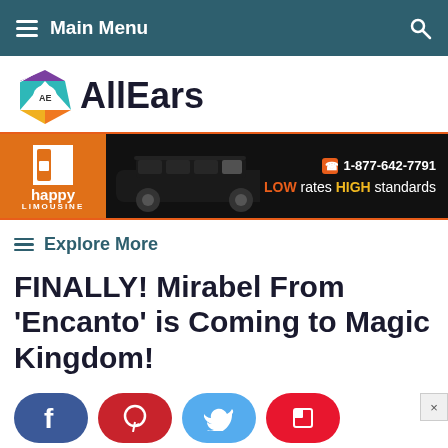≡ Main Menu
[Figure (logo): AllEars website logo with stylized AE hexagon icon and AllEars text]
[Figure (infographic): Happy Limousine advertisement banner: orange and black banner with limo car image, phone number 1-877-642-7791, and tagline LOW rates HIGH standards]
≡ Explore More
FINALLY! Mirabel From 'Encanto' is Coming to Magic Kingdom!
[Figure (infographic): Social sharing buttons: Facebook (blue), Pinterest (red), Twitter (blue), Flipboard (red)]
By Samantha Kendall